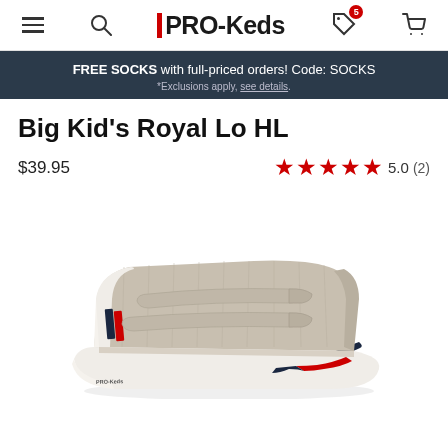PRO-Keds navigation bar
FREE SOCKS with full-priced orders! Code: SOCKS *Exclusions apply, see details.
Big Kid's Royal Lo HL
$39.95
★★★★★ 5.0 (2)
[Figure (photo): Side view of Big Kid's Royal Lo HL sneaker - light tan/khaki canvas low-top shoe with two velcro straps, white rubber sole with red and navy stripe accents at the toe cap, on a white background.]